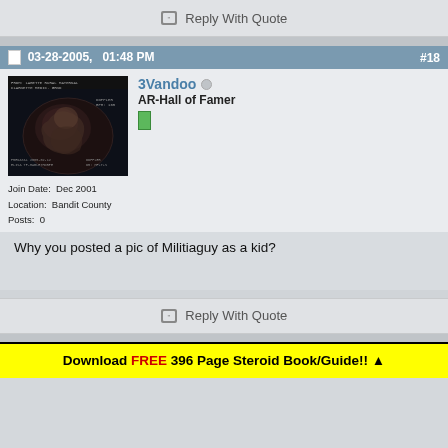Reply With Quote
03-28-2005, 01:48 PM  #18
[Figure (photo): Ultrasound image of a fetus]
3Vandoo
AR-Hall of Famer
Join Date: Dec 2001
Location: Bandit County
Posts: 0
Why you posted a pic of Militiaguy as a kid?
Reply With Quote
Download FREE 396 Page Steroid Book/Guide!! ▲